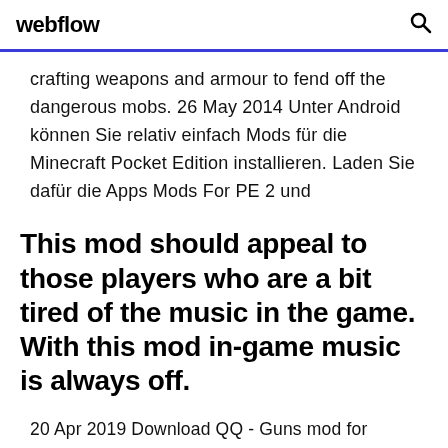webflow
crafting weapons and armour to fend off the dangerous mobs. 26 May 2014 Unter Android können Sie relativ einfach Mods für die Minecraft Pocket Edition installieren. Laden Sie dafür die Apps Mods For PE 2 und
This mod should appeal to those players who are a bit tired of the music in the game. With this mod in-game music is always off.
20 Apr 2019 Download QQ - Guns mod for minecraft pe apk 1.0 for Android. Weapons, Guns, Pistols, Laser guns - All in one app. Enjoy! The one app for Minecraft Pocket Edition is